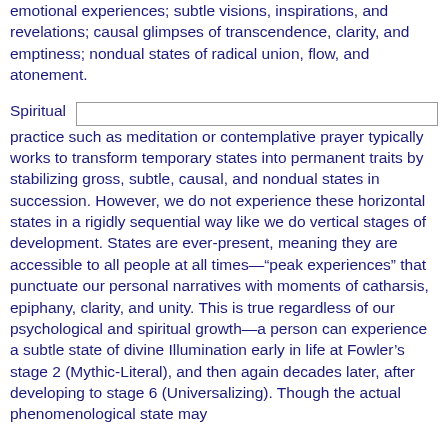emotional experiences; subtle visions, inspirations, and revelations; causal glimpses of transcendence, clarity, and emptiness; nondual states of radical union, flow, and atonement.
Spiritual practice such as meditation or contemplative prayer typically works to transform temporary states into permanent traits by stabilizing gross, subtle, causal, and nondual states in succession. However, we do not experience these horizontal states in a rigidly sequential way like we do vertical stages of development. States are ever-present, meaning they are accessible to all people at all times—"peak experiences" that punctuate our personal narratives with moments of catharsis, epiphany, clarity, and unity. This is true regardless of our psychological and spiritual growth—a person can experience a subtle state of divine Illumination early in life at Fowler's stage 2 (Mythic-Literal), and then again decades later, after developing to stage 6 (Universalizing). Though the actual phenomenological state may